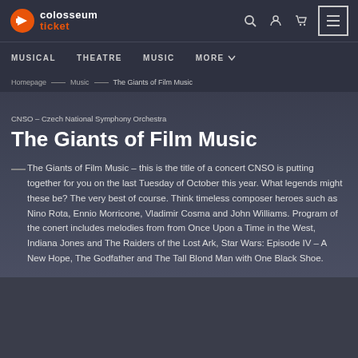[Figure (logo): Colosseum Ticket logo with orange icon and white/orange text]
MUSICAL   THEATRE   MUSIC   MORE
Homepage — Music — The Giants of Film Music
CNSO – Czech National Symphony Orchestra
The Giants of Film Music
The Giants of Film Music – this is the title of a concert CNSO is putting together for you on the last Tuesday of October this year. What legends might these be? The very best of course. Think timeless composer heroes such as Nino Rota, Ennio Morricone, Vladimir Cosma and John Williams. Program of the conert includes melodies from from Once Upon a Time in the West, Indiana Jones and The Raiders of the Lost Ark, Star Wars: Episode IV – A New Hope, The Godfather and The Tall Blond Man with One Black Shoe.